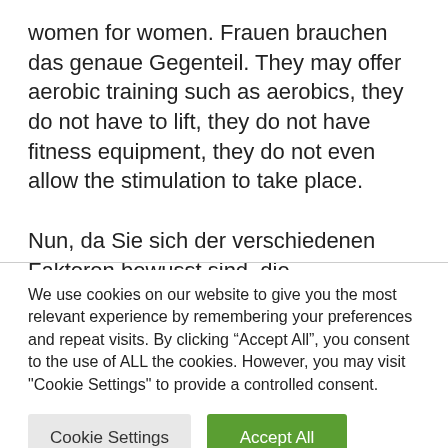women for women. Frauen brauchen das genaue Gegenteil. They may offer aerobic training such as aerobics, they do not have to lift, they do not have fitness equipment, they do not even allow the stimulation to take place.

Nun, da Sie sich der verschiedenen Faktoren bewusst sind, die Trainingspläne
We use cookies on our website to give you the most relevant experience by remembering your preferences and repeat visits. By clicking “Accept All”, you consent to the use of ALL the cookies. However, you may visit "Cookie Settings" to provide a controlled consent.